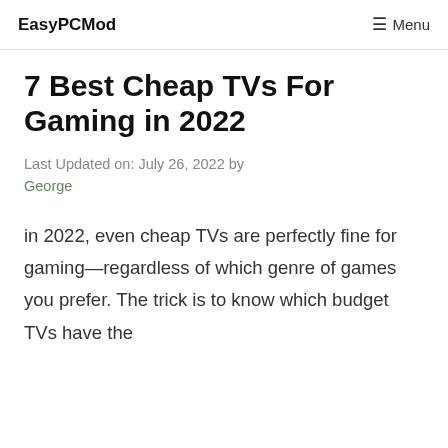EasyPCMod  ☰ Menu
7 Best Cheap TVs For Gaming in 2022
Last Updated on: July 26, 2022 by George
in 2022, even cheap TVs are perfectly fine for gaming—regardless of which genre of games you prefer. The trick is to know which budget TVs have the features and the best qualities...